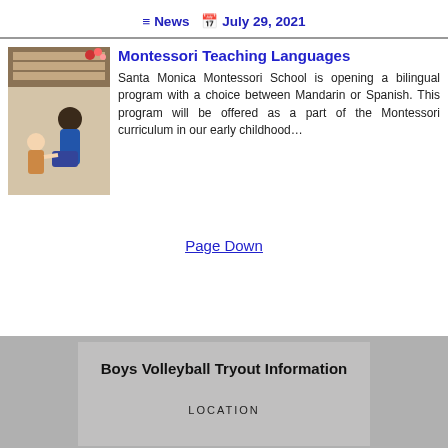News   July 29, 2021
Montessori Teaching Languages
[Figure (photo): Teacher and young child interacting on the floor near shelves in a Montessori classroom]
Santa Monica Montessori School is opening a bilingual program with a choice between Mandarin or Spanish. This program will be offered as a part of the Montessori curriculum in our early childhood…
Page Down
[Figure (photo): Boys Volleyball Tryout Information card with LOCATION text below title]